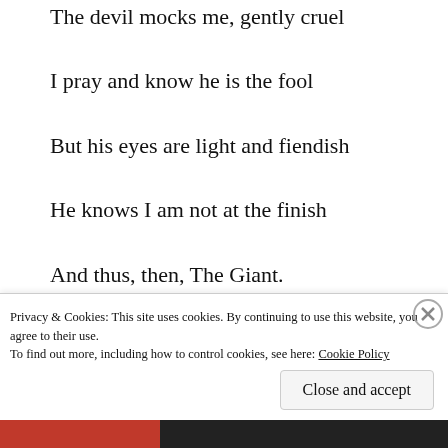The devil mocks me, gently cruel
I pray and know he is the fool
But his eyes are light and fiendish
He knows I am not at the finish
And thus, then, The Giant.
I grin with the brightness of the sun
Privacy & Cookies: This site uses cookies. By continuing to use this website, you agree to their use. To find out more, including how to control cookies, see here: Cookie Policy
Close and accept